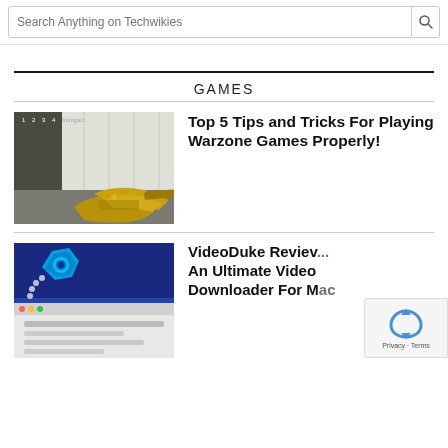Search Anything on Techwikies
GAMES
[Figure (screenshot): Screenshot of a first-person shooter game (Warzone) showing a player holding a gold weapon in an industrial warehouse setting]
Top 5 Tips and Tricks For Playing Warzone Games Properly!
[Figure (screenshot): Screenshot showing VideoDuke application with a blue hexagonal logo and a video downloader interface]
VideoDuke Review: An Ultimate Video Downloader For Mac